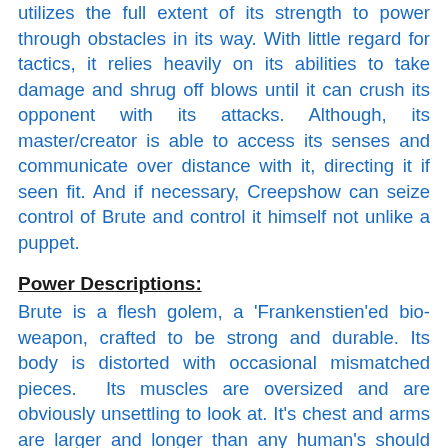utilizes the full extent of its strength to power through obstacles in its way. With little regard for tactics, it relies heavily on its abilities to take damage and shrug off blows until it can crush its opponent with its attacks. Although, its master/creator is able to access its senses and communicate over distance with it, directing it if seen fit. And if necessary, Creepshow can seize control of Brute and control it himself not unlike a puppet.
Power Descriptions:
Brute is a flesh golem, a 'Frankenstien'ed bio-weapon, crafted to be strong and durable. Its body is distorted with occasional mismatched pieces.  Its muscles are oversized and are obviously unsettling to look at. It's chest and arms are larger and longer than any human's should be. As such it always possesses inhuman strength and toughness, with a reach that some tend to misjudge. It can at times, at the need of its